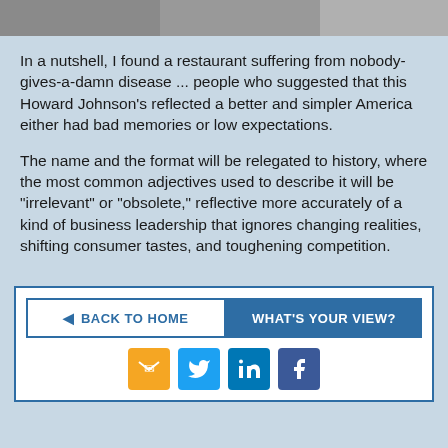[Figure (photo): Partial photo strip at top of page showing a person, cropped]
In a nutshell, I found a restaurant suffering from nobody-gives-a-damn disease ... people who suggested that this Howard Johnson's reflected a better and simpler America either had bad memories or low expectations.
The name and the format will be relegated to history, where the most common adjectives used to describe it will be "irrelevant" or "obsolete," reflective more accurately of a kind of business leadership that ignores changing realities, shifting consumer tastes, and toughening competition.
BACK TO HOME | WHAT'S YOUR VIEW?